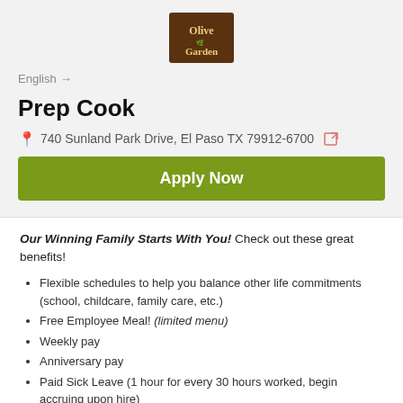[Figure (logo): Olive Garden Italian Kitchen logo — brown square with green olive branch illustration and white text]
English →
Prep Cook
📍 740 Sunland Park Drive, El Paso TX 79912-6700 [external link icon]
Apply Now
Our Winning Family Starts With You! Check out these great benefits!
Flexible schedules to help you balance other life commitments (school, childcare, family care, etc.)
Free Employee Meal! (limited menu)
Weekly pay
Anniversary pay
Paid Sick Leave (1 hour for every 30 hours worked, begin accruing upon hire)